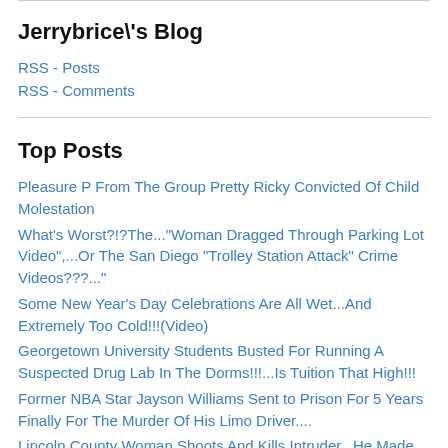Jerrybrice\'s Blog
RSS - Posts
RSS - Comments
Top Posts
Pleasure P From The Group Pretty Ricky Convicted Of Child Molestation
What's Worst?!?The..."Woman Dragged Through Parking Lot Video",...Or The San Diego "Trolley Station Attack" Crime Videos???..."
Some New Year's Day Celebrations Are All Wet...And Extremely Too Cold!!!(Video)
Georgetown University Students Busted For Running A Suspected Drug Lab In The Dorms!!!...Is Tuition That High!!!
Former NBA Star Jayson Williams Sent to Prison For 5 Years Finally For The Murder Of His Limo Driver....
Lincoln County Woman Shoots And Kills Intruder...He Made Her Day